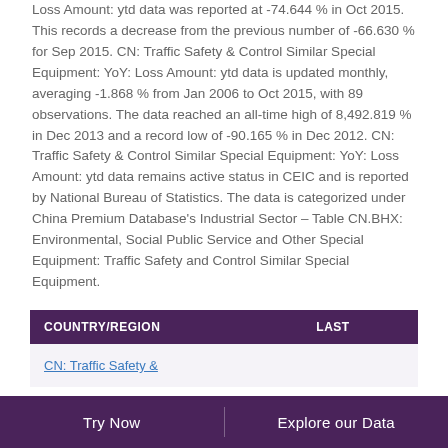CN: Traffic Safety & Control Similar Special Equipment: YoY: Loss Amount: ytd data was reported at -74.644 % in Oct 2015. This records a decrease from the previous number of -66.630 % for Sep 2015. CN: Traffic Safety & Control Similar Special Equipment: YoY: Loss Amount: ytd data is updated monthly, averaging -1.868 % from Jan 2006 to Oct 2015, with 89 observations. The data reached an all-time high of 8,492.819 % in Dec 2013 and a record low of -90.165 % in Dec 2012. CN: Traffic Safety & Control Similar Special Equipment: YoY: Loss Amount: ytd data remains active status in CEIC and is reported by National Bureau of Statistics. The data is categorized under China Premium Database's Industrial Sector – Table CN.BHX: Environmental, Social Public Service and Other Special Equipment: Traffic Safety and Control Similar Special Equipment.
| COUNTRY/REGION | LAST |
| --- | --- |
| CN: Traffic Safety & |  |
Try Now    Explore our Data